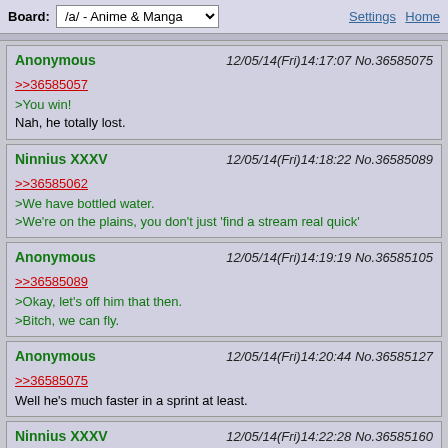Board: /a/ - Anime & Manga | Settings Home
Anonymous 12/05/14(Fri)14:17:07 No.36585075
>>36585057
>You win!
Nah, he totally lost.
Ninnius XXXV 12/05/14(Fri)14:18:22 No.36585089
>>36585062
>We have bottled water.
>We're on the plains, you don't just 'find a stream real quick'
Anonymous 12/05/14(Fri)14:19:19 No.36585105
>>36585089
>Okay, let's off him that then.
>Bitch, we can fly.
Anonymous 12/05/14(Fri)14:20:44 No.36585127
>>36585075
Well he's much faster in a sprint at least.
Ninnius XXXV 12/05/14(Fri)14:22:28 No.36585160